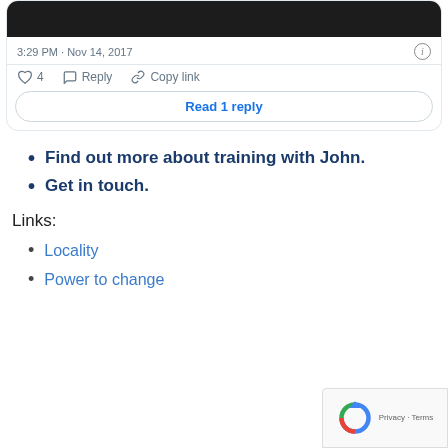[Figure (screenshot): Tweet card screenshot showing timestamp 3:29 PM · Nov 14, 2017 with like, reply, copy link actions and Read 1 reply button]
Find out more about training with John.
Get in touch.
Links:
Locality
Power to change